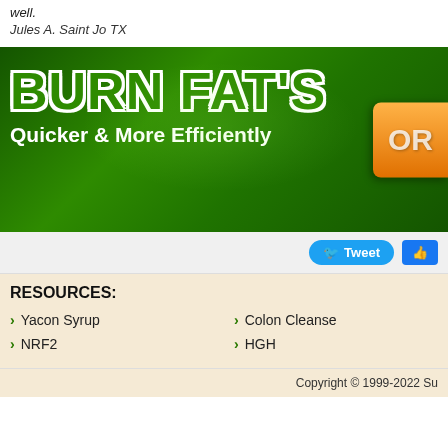well.
Jules A. Saint Jo TX
[Figure (infographic): Green banner advertisement reading 'BURN FAT'S Quicker & More Efficiently' with an orange order button on the right]
[Figure (screenshot): Tweet and Like social media buttons]
RESOURCES:
Yacon Syrup
Colon Cleanse
NRF2
HGH
Copyright © 1999-2022 Su